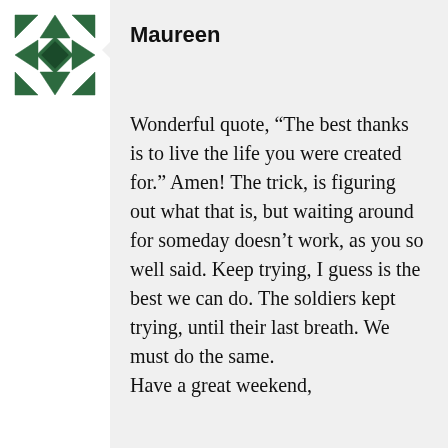[Figure (illustration): Green geometric quilt-pattern avatar icon, square with decorative cross and diamond pattern in dark green]
Maureen
Wonderful quote, “The best thanks is to live the life you were created for.” Amen! The trick, is figuring out what that is, but waiting around for someday doesn’t work, as you so well said. Keep trying, I guess is the best we can do. The soldiers kept trying, until their last breath. We must do the same. Have a great weekend,